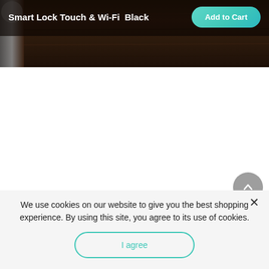[Figure (screenshot): Dark wood background product image of a smart lock, partially visible on left edge]
Smart Lock Touch & Wi-Fi  Black
We use cookies on our website to give you the best shopping experience. By using this site, you agree to its use of cookies.